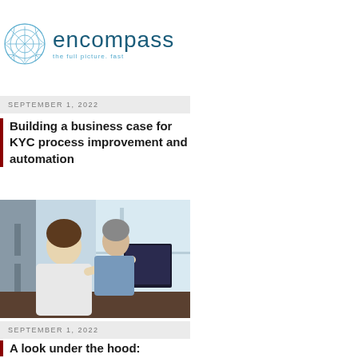[Figure (logo): Encompass logo with circular blue diamond/lattice icon and text 'encompass' with tagline 'the full picture. fast']
SEPTEMBER 1, 2022
Building a business case for KYC process improvement and automation
[Figure (photo): Two colleagues in an office looking at a computer monitor, one person pointing at the screen]
SEPTEMBER 1, 2022
A look under the hood: